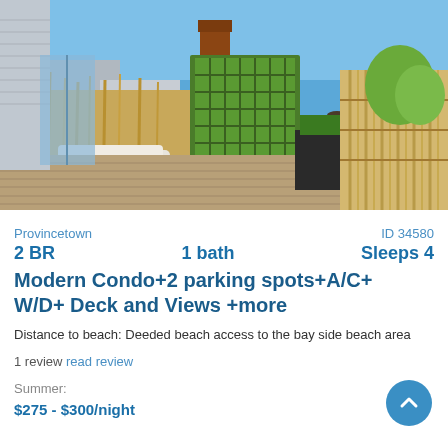[Figure (photo): Outdoor deck/patio area of a condo in Provincetown. Shows a wooden deck with lounge chair, green trellis/ivy wall, bamboo fence, potted plants, bar stools, blue sky background.]
Provincetown
ID 34580
2 BR    1 bath    Sleeps 4
Modern Condo+2 parking spots+A/C+ W/D+ Deck and Views +more
Distance to beach: Deeded beach access to the bay side beach area
1 review read review
Summer:
$275 - $300/night